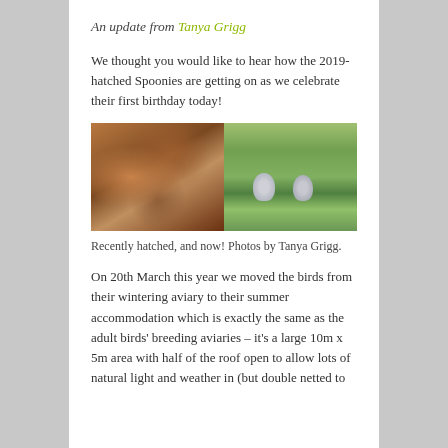An update from Tanya Grigg
We thought you would like to hear how the 2019-hatched Spoonies are getting on as we celebrate their first birthday today!
[Figure (photo): Two side-by-side photos: left shows recently hatched spoonbill chicks held in a hand, right shows two spoonbill birds standing on green grass.]
Recently hatched, and now! Photos by Tanya Grigg.
On 20th March this year we moved the birds from their wintering aviary to their summer accommodation which is exactly the same as the adult birds' breeding aviaries – it's a large 10m x 5m area with half of the roof open to allow lots of natural light and weather in (but double netted to